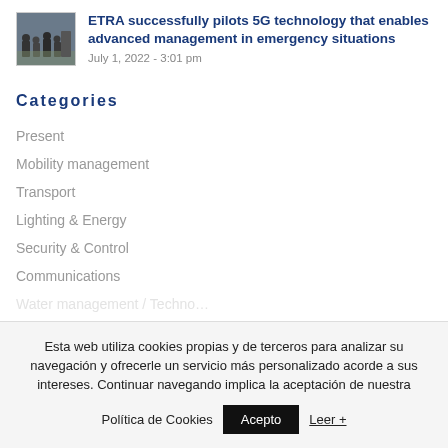[Figure (photo): Thumbnail image of people in an emergency/field situation]
ETRA successfully pilots 5G technology that enables advanced management in emergency situations
July 1, 2022 - 3:01 pm
Categories
Present
Mobility management
Transport
Lighting & Energy
Security & Control
Communications
Esta web utiliza cookies propias y de terceros para analizar su navegación y ofrecerle un servicio más personalizado acorde a sus intereses. Continuar navegando implica la aceptación de nuestra
Política de Cookies  Acepto  Leer +